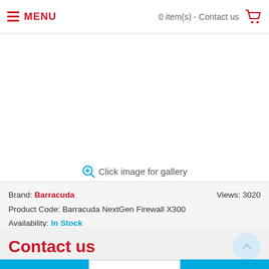MENU  |  0 item(s) - Contact us
[Figure (illustration): Product image area (blank/white) for Barracuda NextGen Firewall X300]
Click image for gallery
Brand: Barracuda  Views: 3020
Product Code: Barracuda NextGen Firewall X300
Availability: In Stock
Contact us
- 1 +